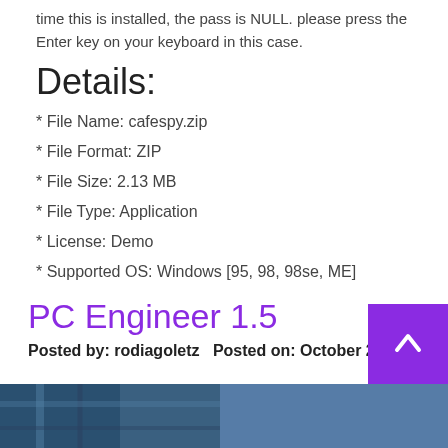time this is installed, the pass is NULL. please press the Enter key on your keyboard in this case.
Details:
* File Name: cafespy.zip
* File Format: ZIP
* File Size: 2.13 MB
* File Type: Application
* License: Demo
* Supported OS: Windows [95, 98, 98se, ME]
PC Engineer 1.5
Posted by: rodiagoletz   Posted on: October 28
[Figure (photo): Photo strip at bottom of page showing a person in plaid/checkered clothing]